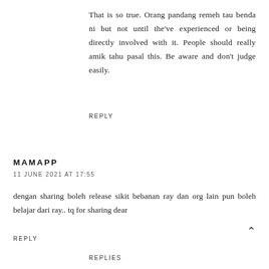That is so true. Orang pandang remeh tau benda ni but not until the've experienced or being directly involved with it. People should really amik tahu pasal this. Be aware and don't judge easily.
REPLY
MAMAPP
11 JUNE 2021 AT 17:55
dengan sharing boleh release sikit bebanan ray dan org lain pun boleh belajar dari ray.. tq for sharing dear
REPLY
REPLIES